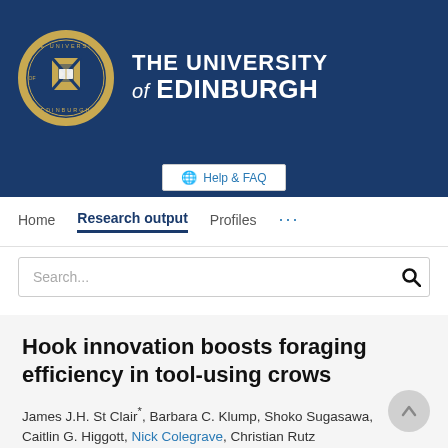[Figure (logo): University of Edinburgh logo with crest and name on dark blue banner]
Help & FAQ
Home   Research output   Profiles   ...
Search...
Hook innovation boosts foraging efficiency in tool-using crows
James J.H. St Clair*, Barbara C. Klump, Shoko Sugasawa, Caitlin G. Higgott, Nick Colegrave, Christian Rutz